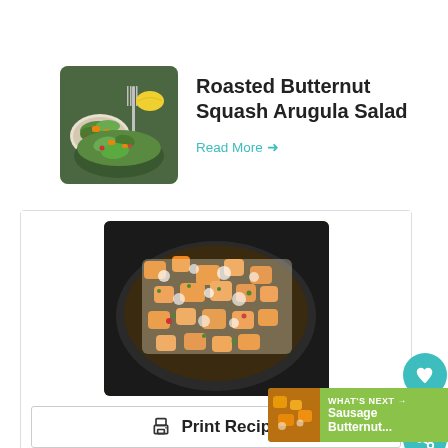[Figure (photo): Photo of roasted butternut squash arugula salad in a bowl with fork]
Roasted Butternut Squash Arugula Salad
Read More →
[Figure (photo): Photo of sausage butternut squash skillet dish in a cast iron pan]
Print Recipe
4.59 from 12 votes